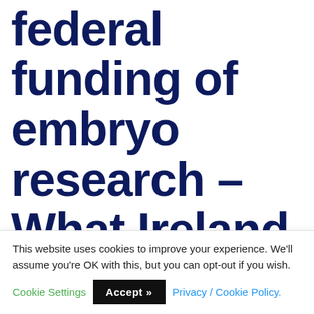federal funding of embryo research – What Ireland must do
This website uses cookies to improve your experience. We'll assume you're OK with this, but you can opt-out if you wish. Cookie Settings Accept >> Privacy / Cookie Policy.